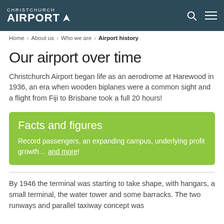CHRISTCHURCH AIRPORT
Home > About us > Who we are > Airport history
Our airport over time
Christchurch Airport began life as an aerodrome at Harewood in 1936, an era when wooden biplanes were a common sight and a flight from Fiji to Brisbane took a full 20 hours!
Facts and figures
Record passengers, an expanding campus, underlying profit growth… and more!
By 1946 the terminal was starting to take shape, with hangars, a small terminal, the water tower and some barracks. The two runways and parallel taxiway concept was